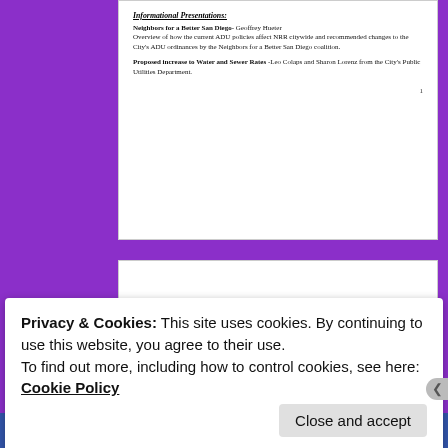Informational Presentations:
Neighbors for a Better San Diego- Geoffrey Hueter
Overview of how the current ADU policies affect NRR citywide and recommended changes to the City's ADU ordinances by the Neighbors for a Better San Diego coalition.
Proposed increase to Water and Sewer Rates -Leo Colaps and Sharon Lorenz from the City's Public Utilities Department.
Discussion Items:
Jeffrey MacMaster- Concurrent San Carlos Resident regarding the City's responses to street work inquires.
Community Group Reports:
Allied Gardens Grantville Community Council
Voice of Del Cerro
San Carlos Area Council
Mission Trails Regional Park Advisory Board
New Business
Adjourn
Privacy & Cookies: This site uses cookies. By continuing to use this website, you agree to their use.
To find out more, including how to control cookies, see here: Cookie Policy
Close and accept
email with more privacy.